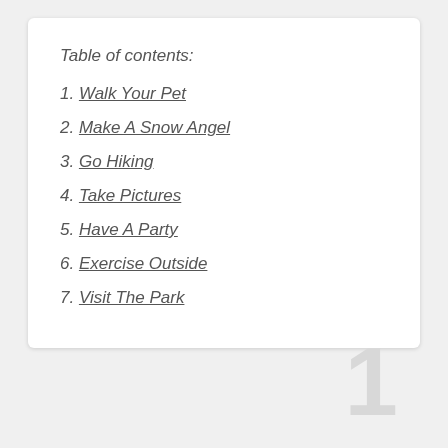Table of contents:
1. Walk Your Pet
2. Make A Snow Angel
3. Go Hiking
4. Take Pictures
5. Have A Party
6. Exercise Outside
7. Visit The Park
1